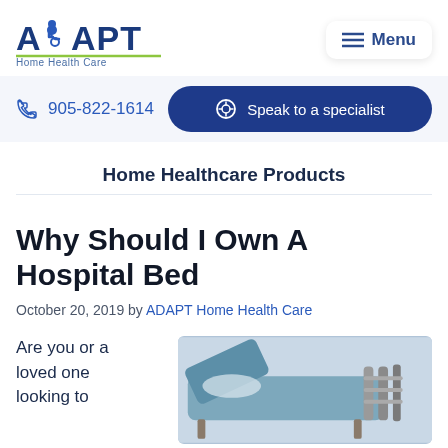[Figure (logo): ADAPT Home Health Care logo with wheelchair icon and green underline]
Menu
905-822-1614
Speak to a specialist
Home Healthcare Products
Why Should I Own A Hospital Bed
October 20, 2019 by ADAPT Home Health Care
Are you or a loved one looking to
[Figure (photo): Photo of a hospital bed with raised backrest and side rails]